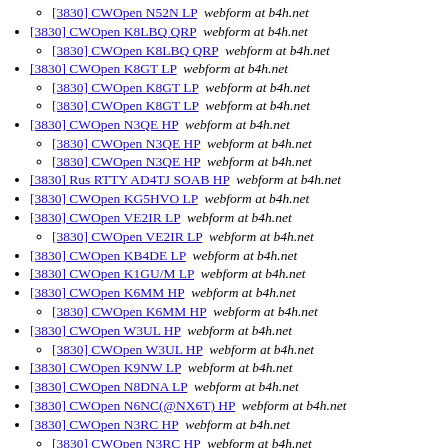[3830] CWOpen N52N LP  webform at b4h.net (sub-item)
[3830] CWOpen K8LBQ QRP  webform at b4h.net
[3830] CWOpen K8LBQ QRP  webform at b4h.net (sub-item)
[3830] CWOpen K8GT LP  webform at b4h.net
[3830] CWOpen K8GT LP  webform at b4h.net (sub-item 1)
[3830] CWOpen K8GT LP  webform at b4h.net (sub-item 2)
[3830] CWOpen N3QE HP  webform at b4h.net
[3830] CWOpen N3QE HP  webform at b4h.net (sub-item 1)
[3830] CWOpen N3QE HP  webform at b4h.net (sub-item 2)
[3830] Rus RTTY AD4TJ SOAB HP  webform at b4h.net
[3830] CWOpen KG5HVO LP  webform at b4h.net
[3830] CWOpen VE2IR LP  webform at b4h.net
[3830] CWOpen VE2IR LP  webform at b4h.net (sub-item)
[3830] CWOpen KB4DE LP  webform at b4h.net
[3830] CWOpen K1GU/M LP  webform at b4h.net
[3830] CWOpen K6MM HP  webform at b4h.net
[3830] CWOpen K6MM HP  webform at b4h.net (sub-item)
[3830] CWOpen W3UL HP  webform at b4h.net
[3830] CWOpen W3UL HP  webform at b4h.net (sub-item)
[3830] CWOpen K9NW LP  webform at b4h.net
[3830] CWOpen N8DNA LP  webform at b4h.net
[3830] CWOpen N6NC(@NX6T) HP  webform at b4h.net
[3830] CWOpen N3RC HP  webform at b4h.net
[3830] CWOpen N3RC HP  webform at b4h.net (sub-item 1)
[3830] CWOpen N3RC HP  webform at b4h.net (sub-item 2)
[3830] CWOpen KE8EK HP  webform at b4h.net (partial)